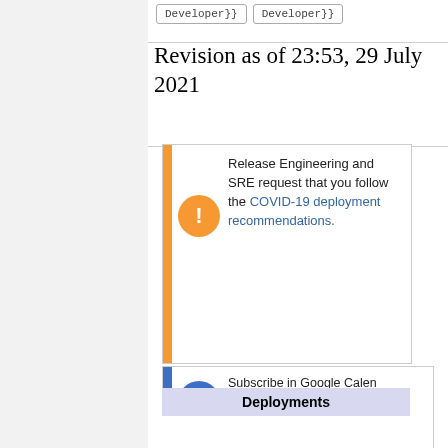Developer}}  Developer}}
Revision as of 23:53, 29 July 2021
Release Engineering and SRE request that you follow the COVID-19 deployment recommendations.
Subscribe in Google Calendar: wikimedia.org_rudis... This may not include one-off deployments. canonical and correct.
Deployments